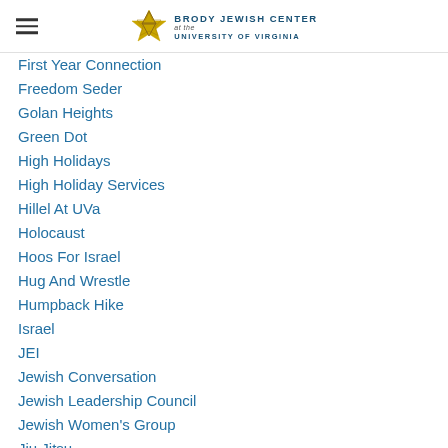Brody Jewish Center at the University of Virginia
First Year Connection
Freedom Seder
Golan Heights
Green Dot
High Holidays
High Holiday Services
Hillel At UVa
Holocaust
Hoos For Israel
Hug And Wrestle
Humpback Hike
Israel
JEI
Jewish Conversation
Jewish Leadership Council
Jewish Women's Group
Jiu Jitsu
JSJC